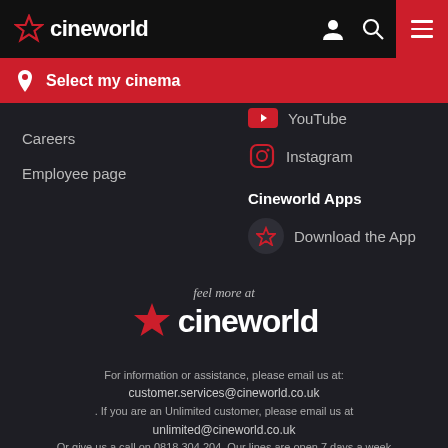cineworld
Select my cinema
Careers
Employee page
YouTube
Instagram
Cineworld Apps
Download the App
[Figure (logo): feel more at cineworld logo with red star]
For information or assistance, please email us at: customer.services@cineworld.co.uk . If you are an Unlimited customer, please email us at unlimited@cineworld.co.uk Or give us a call on 0818 304 204. Our lines are open 7 days a week from 9am to 10pm.